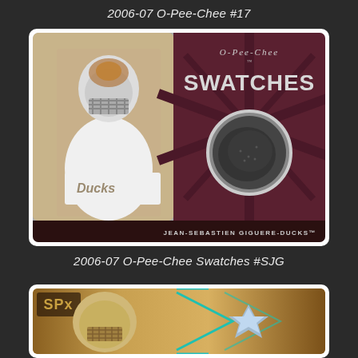2006-07 O-Pee-Chee #17
[Figure (photo): Hockey trading card: 2006-07 O-Pee-Chee Swatches #SJG featuring Jean-Sebastien Giguere of the Anaheim Ducks. Left half shows goalie in white Ducks jersey and mask. Right half shows maroon sunburst pattern with O-Pee-Chee Swatches branding and a circular jersey swatch relic.]
2006-07 O-Pee-Chee Swatches #SJG
[Figure (photo): Partial view of an SPx hockey trading card showing a goalie in mask with gold/bronze design elements and teal SPx logo.]